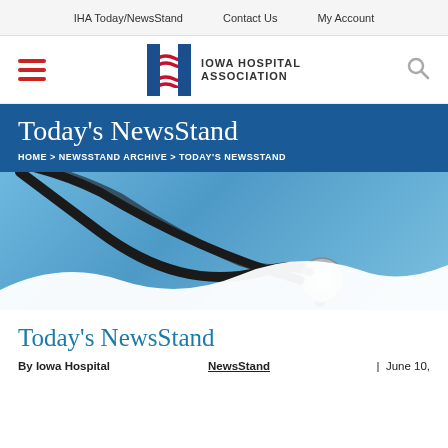IHA Today/NewsStand   Contact Us   My Account
[Figure (logo): Iowa Hospital Association logo with stylized H and red/blue waves]
Today’s NewsStand
HOME > NEWSSTAND ARCHIVE > TODAY’S NEWSSTAND
[Figure (photo): Stethoscope on light blue background with white wave overlay]
Today’s NewsStand
By Iowa Hospital Association   NewsStand   | June 10,